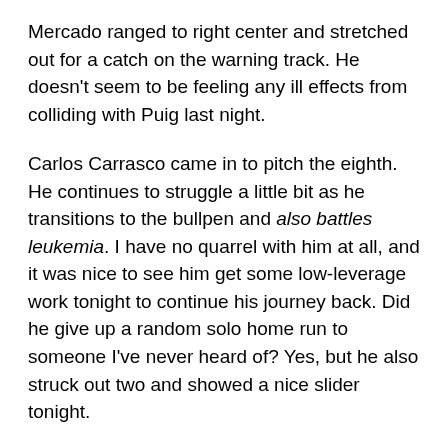Mercado ranged to right center and stretched out for a catch on the warning track. He doesn't seem to be feeling any ill effects from colliding with Puig last night.
Carlos Carrasco came in to pitch the eighth. He continues to struggle a little bit as he transitions to the bullpen and also battles leukemia. I have no quarrel with him at all, and it was nice to see him get some low-leverage work tonight to continue his journey back. Did he give up a random solo home run to someone I've never heard of? Yes, but he also struck out two and showed a nice slider tonight.
In times of Tid, there must be a bit of Tribe
As expected, Andrelton Simmons made three excellent plays tonight. Lindor spins a ton of web gems but its tough to watch Simmons and work